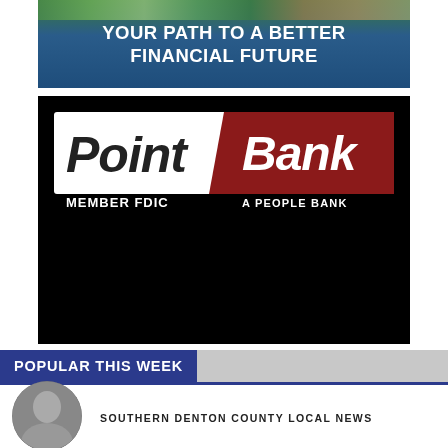[Figure (logo): Banner with nature/outdoor image strip at top and dark blue background reading YOUR PATH TO A BETTER FINANCIAL FUTURE in bold white uppercase text]
[Figure (logo): Point Bank logo on black background — white box with 'Point' in bold italic white text, red parallelogram with 'Bank' in bold italic white text, 'MEMBER FDIC' in white below Point, 'A PEOPLE BANK' in white below Bank]
POPULAR THIS WEEK
[Figure (photo): Circular avatar photo of a person, grayscale]
SOUTHERN DENTON COUNTY LOCAL NEWS